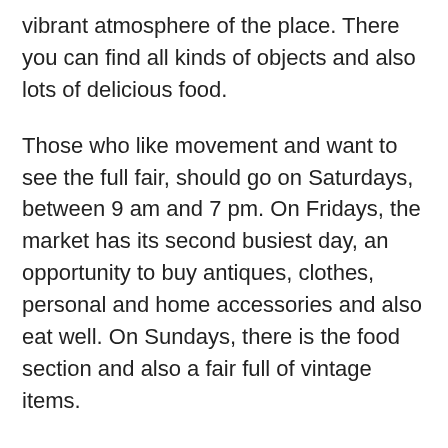vibrant atmosphere of the place. There you can find all kinds of objects and also lots of delicious food.
Those who like movement and want to see the full fair, should go on Saturdays, between 9 am and 7 pm. On Fridays, the market has its second busiest day, an opportunity to buy antiques, clothes, personal and home accessories and also eat well. On Sundays, there is the food section and also a fair full of vintage items.
Check here the complete schedule of the week at Portobello Market.
Portobello Rd, Notting Hill, London – CEP: W11